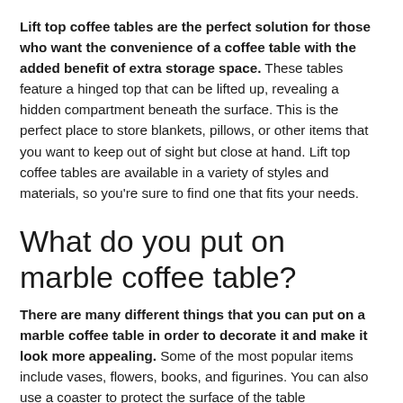Lift top coffee tables are the perfect solution for those who want the convenience of a coffee table with the added benefit of extra storage space. These tables feature a hinged top that can be lifted up, revealing a hidden compartment beneath the surface. This is the perfect place to store blankets, pillows, or other items that you want to keep out of sight but close at hand. Lift top coffee tables are available in a variety of styles and materials, so you're sure to find one that fits your needs.
What do you put on marble coffee table?
There are many different things that you can put on a marble coffee table in order to decorate it and make it look more appealing. Some of the most popular items include vases, flowers, books, and figurines. You can also use a coaster to protect the surface of the table